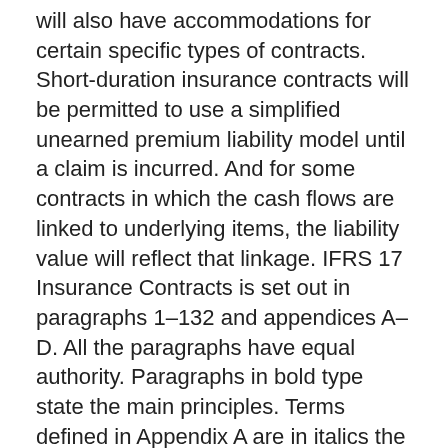will also have accommodations for certain specific types of contracts. Short-duration insurance contracts will be permitted to use a simplified unearned premium liability model until a claim is incurred. And for some contracts in which the cash flows are linked to underlying items, the liability value will reflect that linkage. IFRS 17 Insurance Contracts is set out in paragraphs 1–132 and appendices A–D. All the paragraphs have equal authority. Paragraphs in bold type state the main principles. Terms defined in Appendix A are in italics the first time that they appear in the Standard.
Standarden planeras att antas av EU under 2021. Vad är IFRS 17? Den nya standarden för redovisning av försäkringskontrakt, IFRS 17 Insurance Contracts, publicerades i maj 2017 av